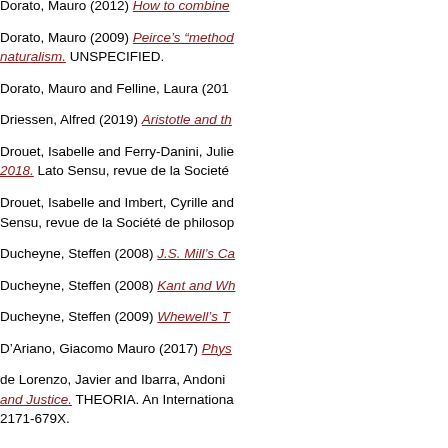Dorato, Mauro (2012) How to combine...
Dorato, Mauro (2009) Peirce's "method... naturalism. UNSPECIFIED.
Dorato, Mauro and Felline, Laura (201...
Driessen, Alfred (2019) Aristotle and th...
Drouet, Isabelle and Ferry-Danini, Julie... 2018. Lato Sensu, revue de la Société...
Drouet, Isabelle and Imbert, Cyrille and... Sensu, revue de la Société de philosop...
Ducheyne, Steffen (2008) J.S. Mill's Ca...
Ducheyne, Steffen (2008) Kant and Wh...
Ducheyne, Steffen (2009) Whewell's T...
D'Ariano, Giacomo Mauro (2017) Phys...
de Lorenzo, Javier and Ibarra, Andoni... and Justice. THEORIA. An Internationa... 2171-679X.